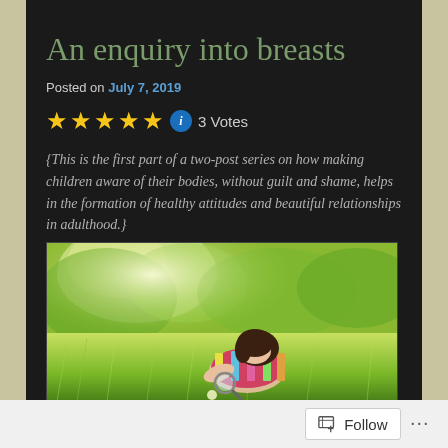An enquiry into breasts
Posted on July 7, 2019
3 Votes
{This is the first part of a two-post series on how making children aware of their bodies, without guilt and shame, helps in the formation of healthy attitudes and beautiful relationships in adulthood.}
[Figure (photo): A young girl lying in green grass, looking through a magnifying glass at something on the ground, sunlit outdoor scene.]
Follow ...